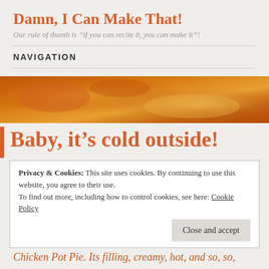Damn, I Can Make That!
Our rule of thumb is “if you can recite it, you can make it”!
NAVIGATION
[Figure (photo): Close-up photo of food with warm orange and brown tones, appears to be a baked dish.]
Baby, it’s cold outside!
Privacy & Cookies: This site uses cookies. By continuing to use this website, you agree to their use. To find out more, including how to control cookies, see here: Cookie Policy
Close and accept
Chicken Pot Pie. Its filling, creamy, hot, and so, so,